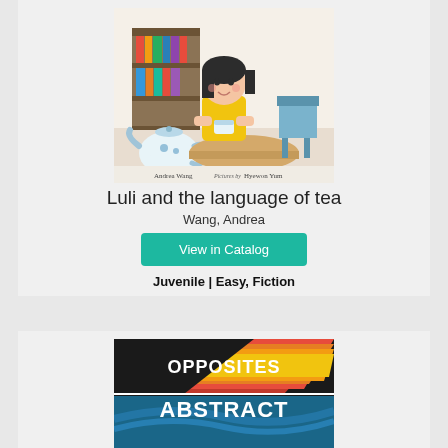[Figure (illustration): Book cover for 'Luli and the language of tea' by Andrea Wang, illustrated by Hyewon Yum. Shows a young Asian girl in a yellow shirt at a table with a blue and white teapot, bookshelf in background. Text: Andrea Wang, Pictures by Hyewon Yum.]
Luli and the language of tea
Wang, Andrea
View in Catalog
Juvenile | Easy, Fiction
[Figure (illustration): Book cover for 'Opposites Abstract' showing colorful abstract diagonal stripes in red, orange, yellow, green, blue with bold white text reading OPPOSITES ABSTRACT.]